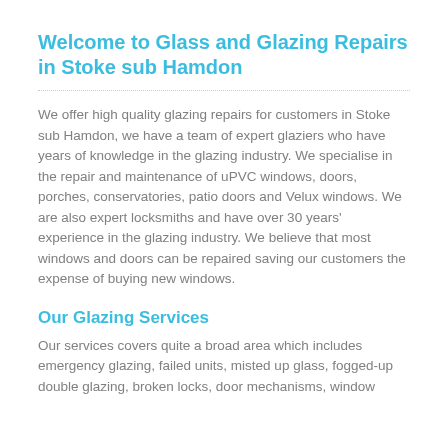Welcome to Glass and Glazing Repairs in Stoke sub Hamdon
We offer high quality glazing repairs for customers in Stoke sub Hamdon, we have a team of expert glaziers who have years of knowledge in the glazing industry. We specialise in the repair and maintenance of uPVC windows, doors, porches, conservatories, patio doors and Velux windows. We are also expert locksmiths and have over 30 years' experience in the glazing industry. We believe that most windows and doors can be repaired saving our customers the expense of buying new windows.
Our Glazing Services
Our services covers quite a broad area which includes emergency glazing, failed units, misted up glass, fogged-up double glazing, broken locks, door mechanisms, window